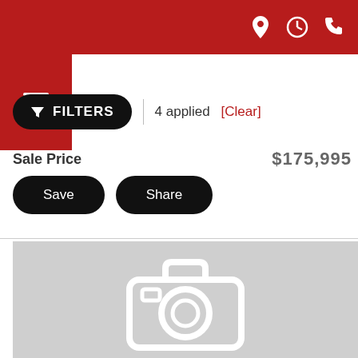Red top navigation bar with location, clock, and phone icons
[Figure (screenshot): Mobile app screenshot showing a vehicle dealership app with red header bar containing location, clock, and phone icons; hamburger menu on left; filters button with '4 applied [Clear]'; Sale Price row showing $175,995; Save and Share buttons; and a grey image placeholder with camera icon]
Sale Price   $175,995
4 applied [Clear]
FILTERS
Save
Share